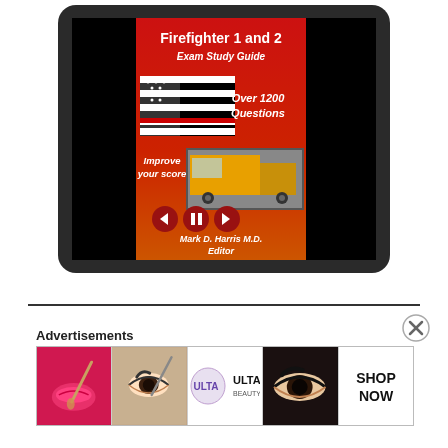[Figure (illustration): A tablet device (dark gray with rounded corners) displaying a book cover for 'Firefighter 1 and 2 Exam Study Guide' by Mark D. Harris M.D., Editor. The cover is red/orange gradient featuring a thin red line flag, text 'Over 1200 Questions', 'Improve your score', a yellow fire truck image, and media control buttons.]
[Figure (illustration): An advertisement strip showing beauty/cosmetics ads including lips with makeup brush, eye with makeup, ULTA beauty logo, eye close-up, and 'SHOP NOW' text panel.]